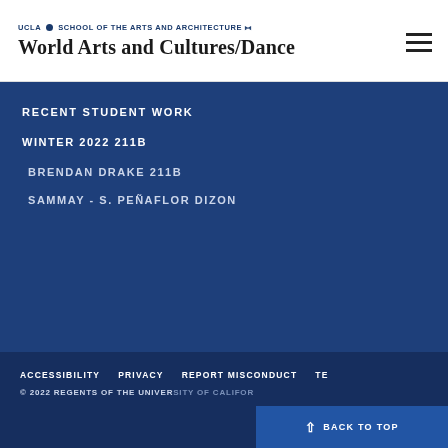UCLA • SCHOOL OF THE ARTS AND ARCHITECTURE : World Arts and Cultures/Dance
RECENT STUDENT WORK
WINTER 2022 211B
BRENDAN DRAKE 211B
SAMMAY - S. PEÑAFLOR DIZON
ACCESSIBILITY   PRIVACY   REPORT MISCONDUCT   TE… © 2022 REGENTS OF THE UNIVERSITY OF CALIFORNIA   BACK TO TOP